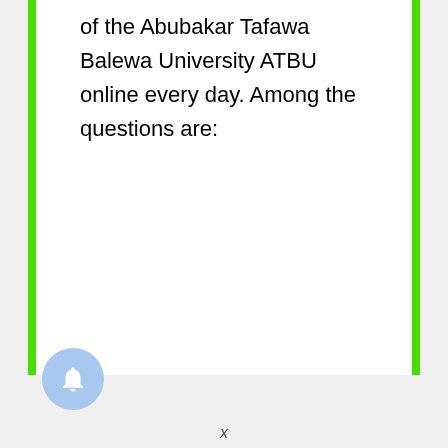of the Abubakar Tafawa Balewa University ATBU online every day. Among the questions are:
[Figure (other): A circular blue bell/notification button icon]